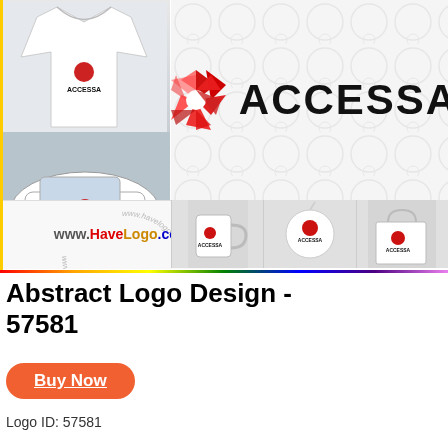[Figure (illustration): Brand mockup showcase for ACCESSA logo. Top left: t-shirt and car with small ACCESSA logo. Top right: large ACCESSA logo with geometric red/white pinwheel symbol on patterned background. Bottom left: www.HaveLogo.com watermark in circular text. Bottom right: mug, round disc, and shopping bag all branded with ACCESSA logo.]
Abstract Logo Design - 57581
Buy Now
Logo ID: 57581